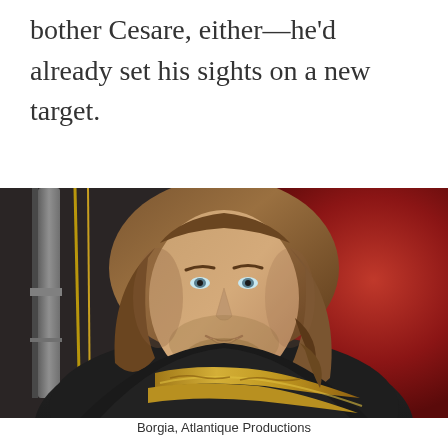bother Cesare, either—he'd already set his sights on a new target.
[Figure (photo): A man with long brown wavy hair and a beard, wearing a dark cloak with a gold/ornate sash draped across his chest. He gazes directly at the camera. The background shows deep red fabric on the right and dark stone columns on the left. Scene appears to be from a period drama.]
Borgia, Atlantique Productions